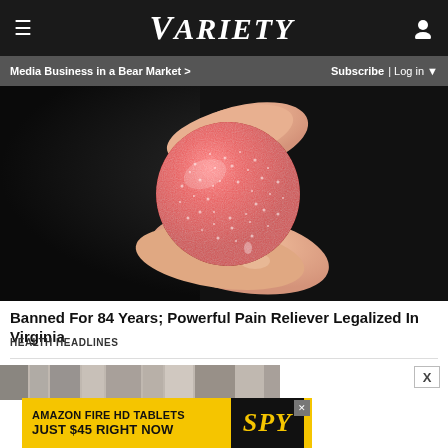VARIETY
Media Business in a Bear Market >    Subscribe | Log in
[Figure (photo): Close-up of a red sugar-coated gummy candy being held between two fingers against a dark background]
Banned For 84 Years; Powerful Pain Reliever Legalized In Virginia
HEALTH HEADLINES
[Figure (photo): Partially visible blurred image strip at the bottom of the content area]
[Figure (other): Advertisement banner: AMAZON FIRE HD TABLETS JUST $45 RIGHT NOW - SPY]